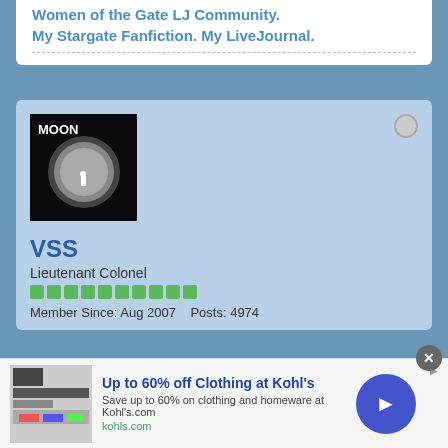Women of the Gate LJ Community. My Stargate Fanfiction. My LiveJournal.
[Figure (photo): Avatar image showing movie poster for 'MOON' with a small figure standing on a grey lunar surface]
VSS
Lieutenant Colonel
Member Since: Aug 2007   Posts: 4974
09 December 2009, 02:18 AM   #1946
Originally posted by Rachel500
Up to 60% off Clothing at Kohl's
Save up to 60% on clothing and homeware at Kohl's.com
kohls.com